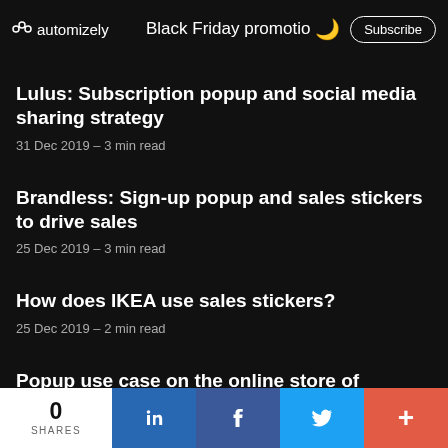automizely | Black Friday promotio | Subscribe
Lulus: Subscription popup and social media sharing strategy
31 Dec 2019 – 3 min read
Brandless: Sign-up popup and sales stickers to drive sales
25 Dec 2019 – 3 min read
How does IKEA use sales stickers?
25 Dec 2019 – 2 min read
Popup use case on the online store of Champion
18 Dec 2019 – 2 min read
0 SHARES | LinkedIn | Facebook | Twitter | +